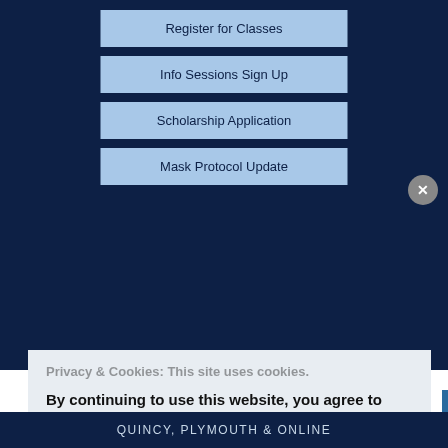Register for Classes
Info Sessions Sign Up
Scholarship Application
Mask Protocol Update
Privacy & Cookies: This site uses cookies. By continuing to use this website, you agree to their use. To find out more, including how to control cookies, see here:
Cookie Policy
Close and accept
QUINCY, PLYMOUTH & ONLINE